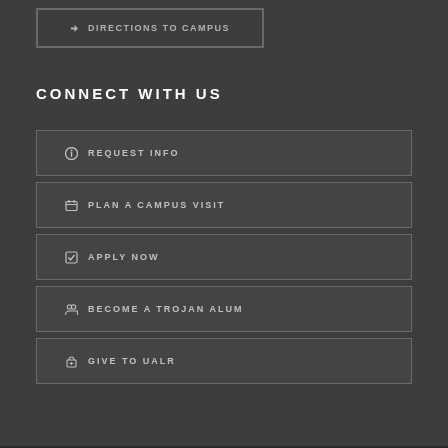DIRECTIONS TO CAMPUS
CONNECT WITH US
REQUEST INFO
PLAN A CAMPUS VISIT
APPLY NOW
BECOME A TROJAN ALUM
GIVE TO UALR